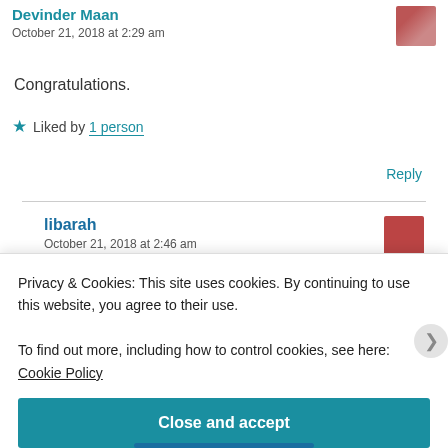Devinder Maan
October 21, 2018 at 2:29 am
Congratulations.
Liked by 1 person
Reply
libarah
October 21, 2018 at 2:46 am
Privacy & Cookies: This site uses cookies. By continuing to use this website, you agree to their use. To find out more, including how to control cookies, see here: Cookie Policy
Close and accept